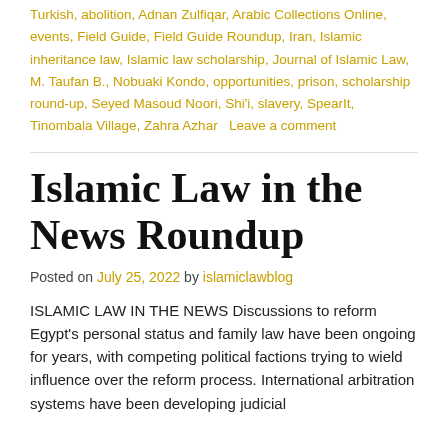Turkish, abolition, Adnan Zulfiqar, Arabic Collections Online, events, Field Guide, Field Guide Roundup, Iran, Islamic inheritance law, Islamic law scholarship, Journal of Islamic Law, M. Taufan B., Nobuaki Kondo, opportunities, prison, scholarship round-up, Seyed Masoud Noori, Shi'i, slavery, SpearIt, Tinombala Village, Zahra Azhar   Leave a comment
Islamic Law in the News Roundup
Posted on July 25, 2022 by islamiclawblog
ISLAMIC LAW IN THE NEWS Discussions to reform Egypt's personal status and family law have been ongoing for years, with competing political factions trying to wield influence over the reform process. International arbitration systems have been developing judicial